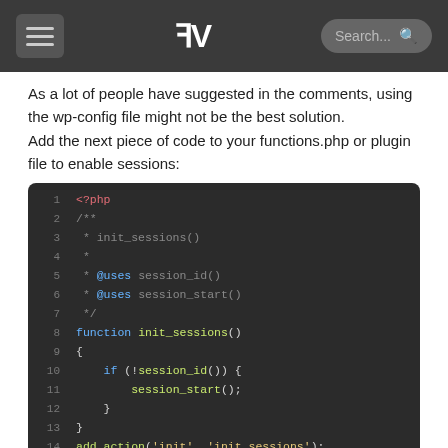FV [logo] Search...
As a lot of people have suggested in the comments, using the wp-config file might not be the best solution.
Add the next piece of code to your functions.php or plugin file to enable sessions:
[Figure (screenshot): PHP code block showing a function init_sessions() that checks if a session_id exists and calls session_start(), then registers it with add_action('init', 'init_sessions').]
I hope this will help you out when facing the same problem.